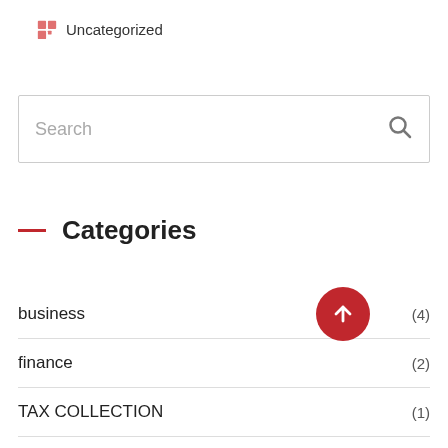Uncategorized
[Figure (screenshot): Search input box with placeholder text 'Search' and a search icon on the right]
Categories
business (4)
finance (2)
TAX COLLECTION (1)
Uncategorized (1)